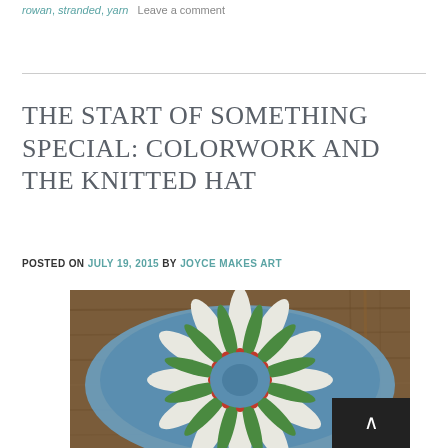rowan, stranded, yarn   Leave a comment
THE START OF SOMETHING SPECIAL: COLORWORK AND THE KNITTED HAT
POSTED ON JULY 19, 2015 BY JOYCE MAKES ART
[Figure (photo): Top-down view of a colorwork knitted hat with blue, white, green, red, and yellow stranded pattern on a brown wooden background, partially visible with a scroll-to-top button overlay in the lower right.]